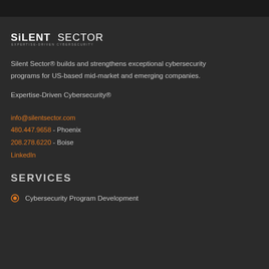[Figure (logo): Silent Sector logo — bold text 'SILENT' in white and 'SECTOR' in white with tagline 'EXPERTISE DRIVEN CYBERSECURITY' below in small text]
Silent Sector® builds and strengthens exceptional cybersecurity programs for US-based mid-market and emerging companies.
Expertise-Driven Cybersecurity®
info@silentsector.com
480.447.9658 - Phoenix
208.278.6220 - Boise
LinkedIn
SERVICES
Cybersecurity Program Development